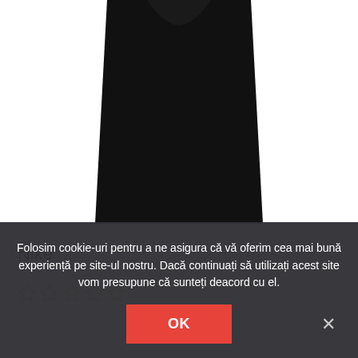[Figure (photo): Black Nike t-shirt product photo, bottom portion visible showing the lower body/hem of the shirt against white background]
Nike
[Figure (other): Five empty/outline star rating icons in yellow/gold color]
Folosim cookie-uri pentru a ne asigura că vă oferim cea mai bună experiență pe site-ul nostru. Dacă continuați să utilizați acest site vom presupune că sunteți deacord cu el.
OK